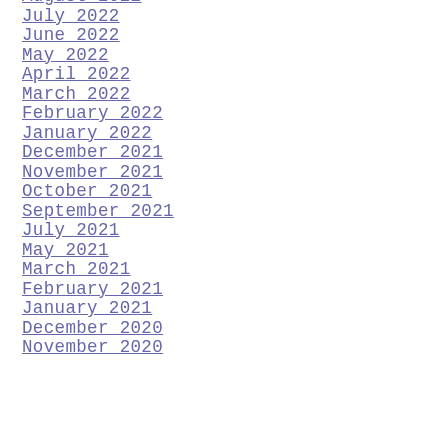August 2022
July 2022
June 2022
May 2022
April 2022
March 2022
February 2022
January 2022
December 2021
November 2021
October 2021
September 2021
July 2021
May 2021
March 2021
February 2021
January 2021
December 2020
November 2020